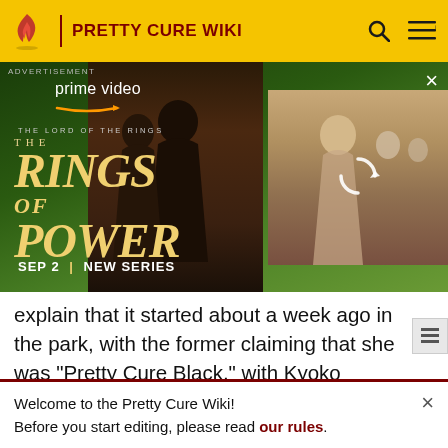PRETTY CURE WIKI
[Figure (photo): Amazon Prime Video advertisement for 'The Lord of the Rings: The Rings of Power' series, showing fantasy characters against a green landscape background. Text reads: ADVERTISEMENT, prime video, THE LORD OF THE RINGS, THE RINGS OF POWER, SEP 2 | NEW SERIES. A second image panel shows a blonde woman with other figures and a refresh/loading icon.]
explain that it started about a week ago in the park, with the former claiming that she was "Pretty Cure Black," with Kyoko telling her to prove it by transforming. Natsuko makes an attempt but admits that she can't. Just then, a few kids approach to ask about Pretty Cure, asking if they're real, which Natsuko confirms and claims that she
Welcome to the Pretty Cure Wiki!
Before you start editing, please read our rules.